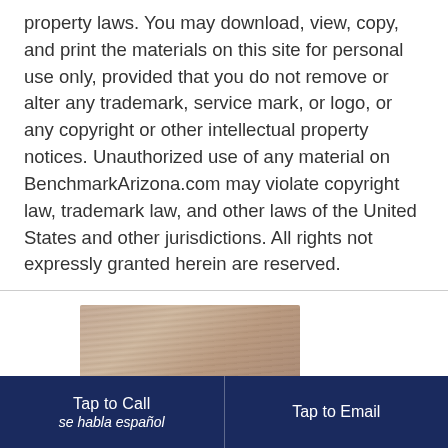property laws. You may download, view, copy, and print the materials on this site for personal use only, provided that you do not remove or alter any trademark, service mark, or logo, or any copyright or other intellectual property notices. Unauthorized use of any material on BenchmarkArizona.com may violate copyright law, trademark law, and other laws of the United States and other jurisdictions. All rights not expressly granted herein are reserved.
[Figure (photo): Partial photo of an elderly person, cropped at the bottom of the page]
Tap to Call  se habla español  |  Tap to Email